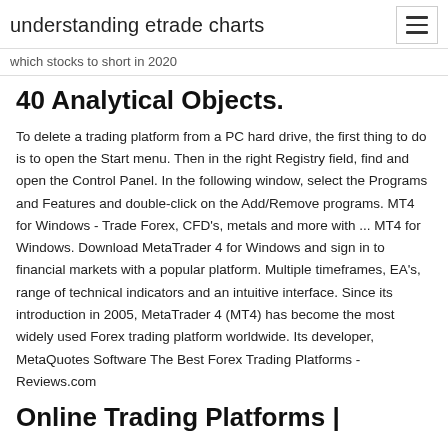understanding etrade charts
which stocks to short in 2020
40 Analytical Objects.
To delete a trading platform from a PC hard drive, the first thing to do is to open the Start menu. Then in the right Registry field, find and open the Control Panel. In the following window, select the Programs and Features and double-click on the Add/Remove programs. MT4 for Windows - Trade Forex, CFD's, metals and more with ... MT4 for Windows. Download MetaTrader 4 for Windows and sign in to financial markets with a popular platform. Multiple timeframes, EA's, range of technical indicators and an intuitive interface. Since its introduction in 2005, MetaTrader 4 (MT4) has become the most widely used Forex trading platform worldwide. Its developer, MetaQuotes Software The Best Forex Trading Platforms - Reviews.com
Online Trading Platforms |